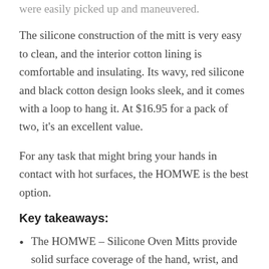were easily picked up and maneuvered.
The silicone construction of the mitt is very easy to clean, and the interior cotton lining is comfortable and insulating. Its wavy, red silicone and black cotton design looks sleek, and it comes with a loop to hang it. At $16.95 for a pack of two, it's an excellent value.
For any task that might bring your hands in contact with hot surfaces, the HOMWE is the best option.
Key takeaways:
The HOMWE – Silicone Oven Mitts provide solid surface coverage of the hand, wrist, and forearm, and it protects more skin than any